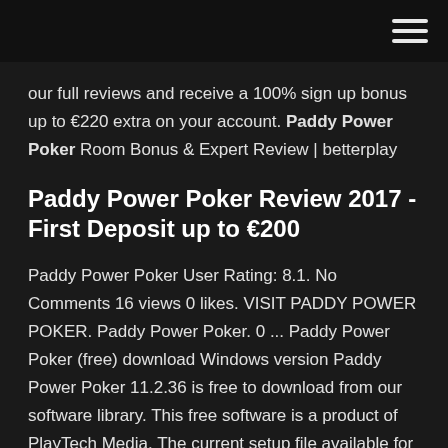our full reviews and receive a 100% sign up bonus up to €220 extra on your account. Paddy Power Poker Room Bonus & Expert Review | betterplay
Paddy Power Poker Review 2017 - First Deposit up to €200
Paddy Power Poker User Rating: 8.1. No Comments 16 views 0 likes. VISIT PADDY POWER POKER. Paddy Power Poker. 0 ... Paddy Power Poker (free) download Windows version Paddy Power Poker 11.2.36 is free to download from our software library. This free software is a product of PlayTech Media. The current setup file available for download requires 805 KB of hard disk space. Paddy Power Casino Review 2019 - Receive up to ££$500 Bonus